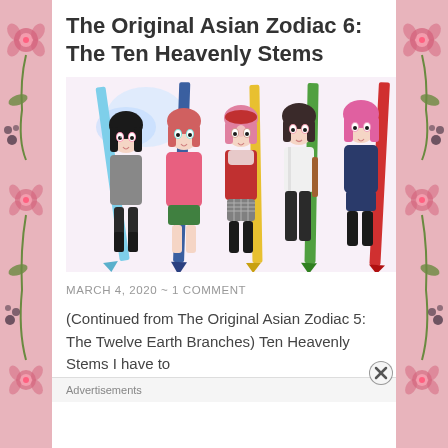The Original Asian Zodiac 6: The Ten Heavenly Stems
[Figure (illustration): Anime-style illustration of five female characters each holding a large oversized colored pencil/pen. Characters wear various outfits including school uniforms, hoodies, and casual wear. Colors of pencils include light blue, dark blue, yellow, green, and red.]
MARCH 4, 2020 ~ 1 COMMENT
(Continued from The Original Asian Zodiac 5:  The Twelve Earth Branches) Ten Heavenly Stems I have to
Advertisements